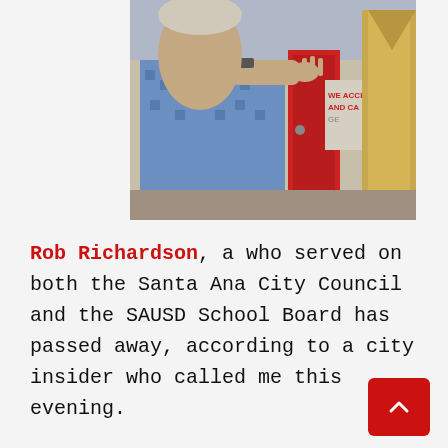[Figure (photo): A man in a blue patterned shirt holding open a red door, with a tan/gold jacket visible on the right side. A partial sign reading 'WE ACCEPT AND CA GE' is visible in the background.]
Rob Richardson, a who served on both the Santa Ana City Council and the SAUSD School Board has passed away, according to a city insider who called me this evening.